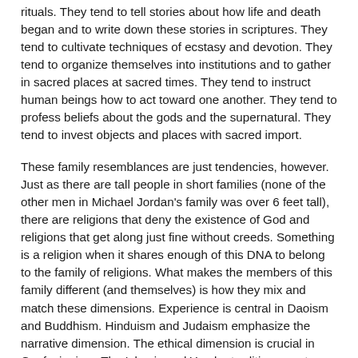rituals. They tend to tell stories about how life and death began and to write down these stories in scriptures. They tend to cultivate techniques of ecstasy and devotion. They tend to organize themselves into institutions and to gather in sacred places at sacred times. They tend to instruct human beings how to act toward one another. They tend to profess beliefs about the gods and the supernatural. They tend to invest objects and places with sacred import.
These family resemblances are just tendencies, however. Just as there are tall people in short families (none of the other men in Michael Jordan's family was over 6 feet tall), there are religions that deny the existence of God and religions that get along just fine without creeds. Something is a religion when it shares enough of this DNA to belong to the family of religions. What makes the members of this family different (and themselves) is how they mix and match these dimensions. Experience is central in Daoism and Buddhism. Hinduism and Judaism emphasize the narrative dimension. The ethical dimension is crucial in Confucianism. The Islamic and Yoruba traditions are to a great extent about ritual. And doctrine is particularly important to Christians.